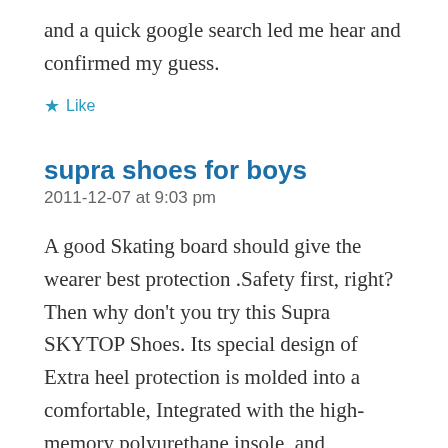and a quick google search led me hear and confirmed my guess.
★ Like
supra shoes for boys
2011-12-07 at 9:03 pm
A good Skating board should give the wearer best protection .Safety first, right? Then why don't you try this Supra SKYTOP Shoes. Its special design of Extra heel protection is molded into a comfortable, Integrated with the high-memory polyurethane insole, and exclusive technology of midsole